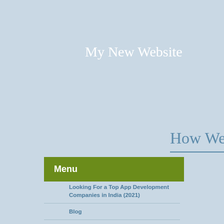My New Website
How Websi
Menu
Looking For a Top App Development Companies in India (2021)
Blog
Types of search engine optimization(SEO): Everything You Need to Know